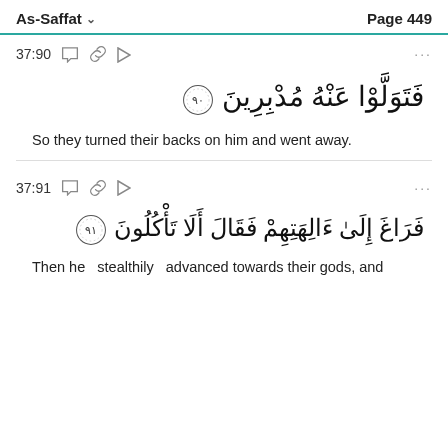As-Saffat   Page 449
37:90
فَتَوَلَّوْا عَنْهُ مُدْبِرِينَ ۝٩٠
So they turned their backs on him and went away.
37:91
فَرَاغَ إِلَىٰ ءَالِهَتِهِمْ فَقَالَ أَلَا تَأْكُلُونَ ۝٩١
Then he stealthily advanced towards their gods, and